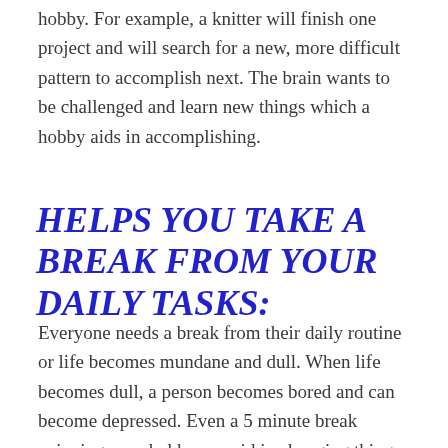hobby. For example, a knitter will finish one project and will search for a new, more difficult pattern to accomplish next. The brain wants to be challenged and learn new things which a hobby aids in accomplishing.
HELPS YOU TAKE A BREAK FROM YOUR DAILY TASKS:
Everyone needs a break from their daily routine or life becomes mundane and dull. When life becomes dull, a person becomes bored and can become depressed. Even a 5 minute break enjoying your hobby can aid in changing things up and keep your day fresh.
HELPS YOU TO EXPLORE NEW HOBBIES AND EVOLVE AS A